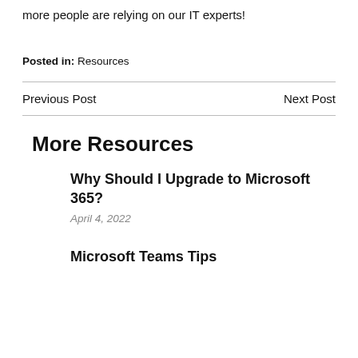more people are relying on our IT experts!
Posted in: Resources
Previous Post
Next Post
More Resources
Why Should I Upgrade to Microsoft 365?
April 4, 2022
Microsoft Teams Tips